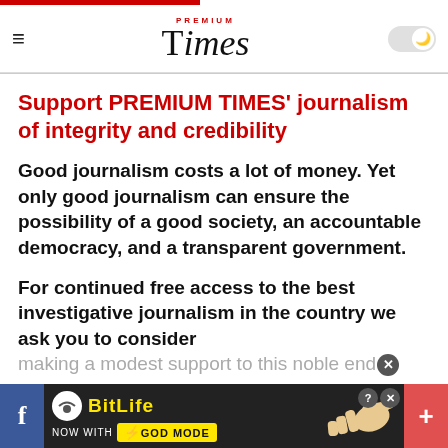PREMIUM Times
Support PREMIUM TIMES' journalism of integrity and credibility
Good journalism costs a lot of money. Yet only good journalism can ensure the possibility of a good society, an accountable democracy, and a transparent government.
For continued free access to the best investigative journalism in the country we ask you to consider making a modest support to this noble endeavour.
[Figure (other): BitLife advertisement banner: NOW WITH GOD MODE, with hand pointing graphic]